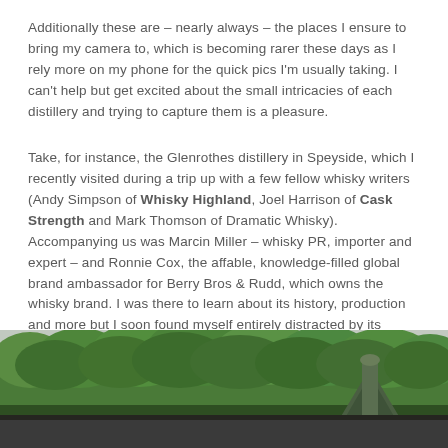Additionally these are – nearly always – the places I ensure to bring my camera to, which is becoming rarer these days as I rely more on my phone for the quick pics I'm usually taking. I can't help but get excited about the small intricacies of each distillery and trying to capture them is a pleasure.
Take, for instance, the Glenrothes distillery in Speyside, which I recently visited during a trip up with a few fellow whisky writers (Andy Simpson of Whisky Highland, Joel Harrison of Cask Strength and Mark Thomson of Dramatic Whisky). Accompanying us was Marcin Miller – whisky PR, importer and expert – and Ronnie Cox, the affable, knowledge-filled global brand ambassador for Berry Bros & Rudd, which owns the whisky brand. I was there to learn about its history, production and more but I soon found myself entirely distracted by its aesthetic qualities.
[Figure (photo): Outdoor photograph of Glenrothes distillery showing lush green trees in the background and a distinctive pagoda-style roof/kiln chimney in the right foreground against an overcast sky.]